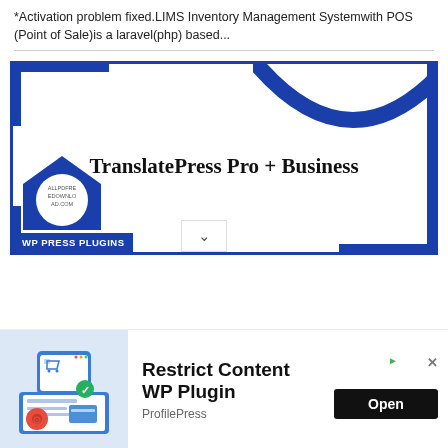*Activation problem fixed.LIMS Inventory Management Systemwith POS (Point of Sale)is a laravel(php) based...
[Figure (screenshot): TranslatePress Pro + Business plugin card with blue border frame and decorative arc at top. Badge overlay at bottom-left with ALLPDFREEDOWNLOAD.COM text. WP PRESS PLUGINS label at bottom.]
[Figure (infographic): Advertisement banner: Restrict Content WP Plugin by ProfilePress with shopping cart illustration and Open button.]